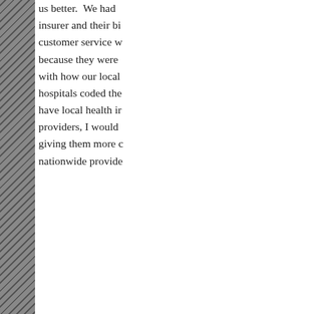us better. We had insurer and their bi customer service w because they were with how our local hospitals coded the have local health in providers, I would giving them more c nationwide provide
Another way to low modify your deduc insurance. If raisin deductible lowers y rate, look at the m
Search for
1. AARP Dental Insurance Plan
2. Find Cheap Health Insurance